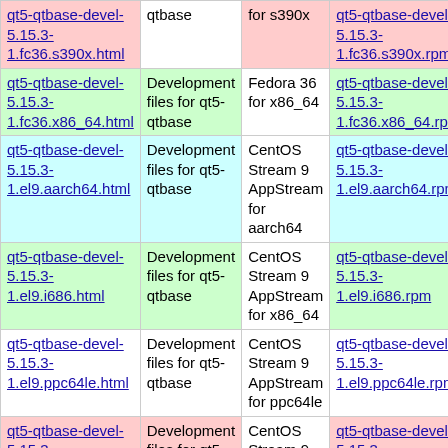| Package | Description | Distribution | RPM |
| --- | --- | --- | --- |
| qt5-qtbase-devel-5.15.3-1.fc36.s390x.html | Development files for qt5-qtbase | for s390x | qt5-qtbase-devel-5.15.3-1.fc36.s390x.rpm |
| qt5-qtbase-devel-5.15.3-1.fc36.x86_64.html | Development files for qt5-qtbase | Fedora 36 for x86_64 | qt5-qtbase-devel-5.15.3-1.fc36.x86_64.rpm |
| qt5-qtbase-devel-5.15.3-1.el9.aarch64.html | Development files for qt5-qtbase | CentOS Stream 9 AppStream for aarch64 | qt5-qtbase-devel-5.15.3-1.el9.aarch64.rpm |
| qt5-qtbase-devel-5.15.3-1.el9.i686.html | Development files for qt5-qtbase | CentOS Stream 9 AppStream for x86_64 | qt5-qtbase-devel-5.15.3-1.el9.i686.rpm |
| qt5-qtbase-devel-5.15.3-1.el9.ppc64le.html | Development files for qt5-qtbase | CentOS Stream 9 AppStream for ppc64le | qt5-qtbase-devel-5.15.3-1.el9.ppc64le.rpm |
| qt5-qtbase-devel-5.15.3-1.el9.s390x.html | Development files for qt5-qtbase | CentOS Stream 9 AppStream for s390x | qt5-qtbase-devel-5.15.3-1.el9.s390x.rpm |
| qt5-qtbase-devel- | Development files for qt5-qtbase | CentOS Stream 9 | qt5-qtbase-devel- |